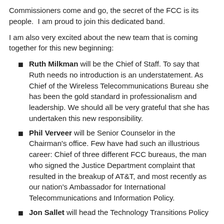Commissioners come and go, the secret of the FCC is its people.  I am proud to join this dedicated band.
I am also very excited about the new team that is coming together for this new beginning:
Ruth Milkman will be the Chief of Staff. To say that Ruth needs no introduction is an understatement. As Chief of the Wireless Telecommunications Bureau she has been the gold standard in professionalism and leadership. We should all be very grateful that she has undertaken this new responsibility.
Phil Verveer will be Senior Counselor in the Chairman's office. Few have had such an illustrious career: Chief of three different FCC bureaus, the man who signed the Justice Department complaint that resulted in the breakup of AT&T, and most recently as our nation's Ambassador for International Telecommunications and Information Policy.
Jon Sallet will head the Technology Transitions Policy